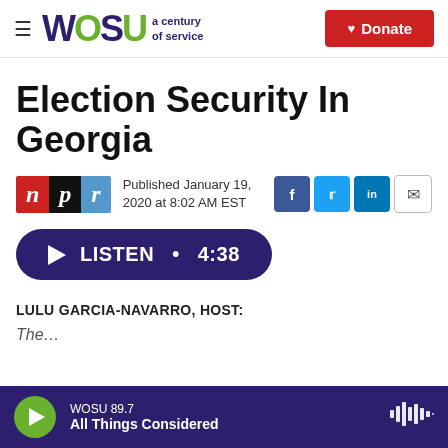WOSU a century of service | Donate
Election Security In Georgia
Published January 19, 2020 at 8:02 AM EST
LISTEN • 4:38
LULU GARCIA-NAVARRO, HOST:
WOSU 89.7 — All Things Considered